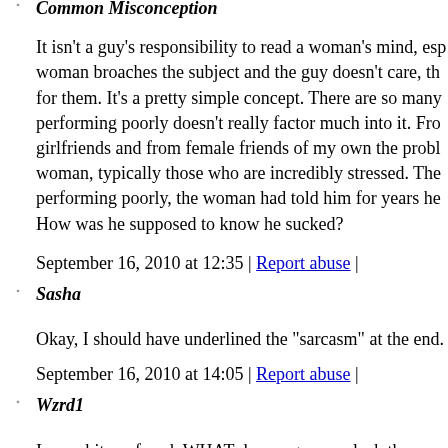Common Misconception
It isn't a guy's responsibility to read a woman's mind, esp woman broaches the subject and the guy doesn't care, th for them. It's a pretty simple concept. There are so many performing poorly doesn't really factor much into it. Fro girlfriends and from female friends of my own the probl woman, typically those who are incredibly stressed. The performing poorly, the woman had told him for years he How was he supposed to know he sucked?
September 16, 2010 at 12:35 | Report abuse |
Sasha
Okay, I should have underlined the "sarcasm" at the end.
September 16, 2010 at 14:05 | Report abuse |
Wzrd1
I am a bit confused. WHAT does orgasm or lack thereof arousal, which is what the story is about? While I find it fascinating that you are frustrated with yo skill and interest, your rant has little to nothing to do wit What DOES have to do with it is the CAUSE of the lack no ONE cause, as women have rather complicated repro medical issues and psychological issues and one ends up